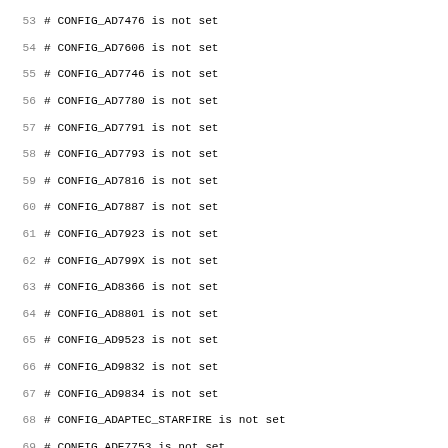53 # CONFIG_AD7476 is not set
54 # CONFIG_AD7606 is not set
55 # CONFIG_AD7746 is not set
56 # CONFIG_AD7780 is not set
57 # CONFIG_AD7791 is not set
58 # CONFIG_AD7793 is not set
59 # CONFIG_AD7816 is not set
60 # CONFIG_AD7887 is not set
61 # CONFIG_AD7923 is not set
62 # CONFIG_AD799X is not set
63 # CONFIG_AD8366 is not set
64 # CONFIG_AD8801 is not set
65 # CONFIG_AD9523 is not set
66 # CONFIG_AD9832 is not set
67 # CONFIG_AD9834 is not set
68 # CONFIG_ADAPTEC_STARFIRE is not set
69 # CONFIG_ADE7753 is not set
70 # CONFIG_ADE7754 is not set
71 # CONFIG_ADE7758 is not set
72 # CONFIG_ADE7759 is not set
73 # CONFIG_ADE7854 is not set
74 # CONFIG_ADF4350 is not set
75 # CONFIG_ADFS_FS is not set
76 # CONFIG_ADIS16060 is not set
77 # CONFIG_ADIS16080 is not set
78 # CONFIG_ADIS16130 is not set
79 # CONFIG_ADIS16136 is not set
80 # CONFIG_ADIS16201 is not set
81 # CONFIG_ADIS16203 is not set
82 # CONFIG_ADIS16204 is not set
83 # CONFIG_ADIS16209 is not set
84 # CONFIG_ADIS16220 is not set
85 # CONFIG_ADIS16240 is not set